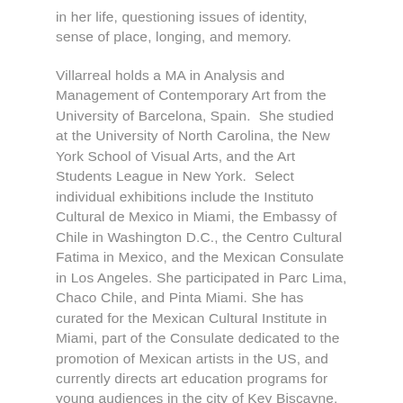in her life, questioning issues of identity, sense of place, longing, and memory.
Villarreal holds a MA in Analysis and Management of Contemporary Art from the University of Barcelona, Spain.  She studied at the University of North Carolina, the New York School of Visual Arts, and the Art Students League in New York.  Select individual exhibitions include the Instituto Cultural de Mexico in Miami, the Embassy of Chile in Washington D.C., the Centro Cultural Fatima in Mexico, and the Mexican Consulate in Los Angeles. She participated in Parc Lima, Chaco Chile, and Pinta Miami. She has curated for the Mexican Cultural Institute in Miami, part of the Consulate dedicated to the promotion of Mexican artists in the US, and currently directs art education programs for young audiences in the city of Key Biscayne, Florida.